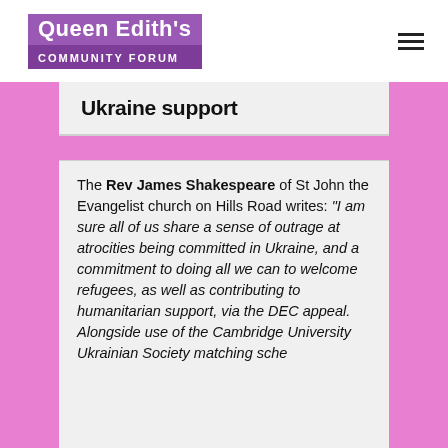Queen Edith's COMMUNITY FORUM
Ukraine support
The Rev James Shakespeare of St John the Evangelist church on Hills Road writes: “I am sure all of us share a sense of outrage at atrocities being committed in Ukraine, and a commitment to doing all we can to welcome refugees, as well as contributing to humanitarian support, via the DEC appeal. Alongside use of the Cambridge University Ukrainian Society matching sche